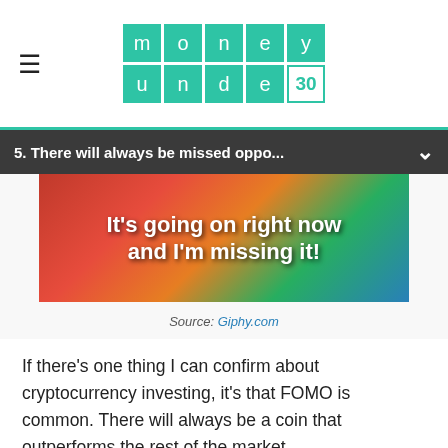money under 30
5. There will always be missed oppo...
[Figure (screenshot): Animated GIF from Giphy showing colorful background with bold white text reading: It's going on right now and I'm missing it!]
Source: Giphy.com
If there’s one thing I can confirm about cryptocurrency investing, it’s that FOMO is common. There will always be a coin that outperforms the rest of the market.
What does this mean for you when investing in crypto?
Take the time to research different forms of cryptocurrency before you go all in. And accept that